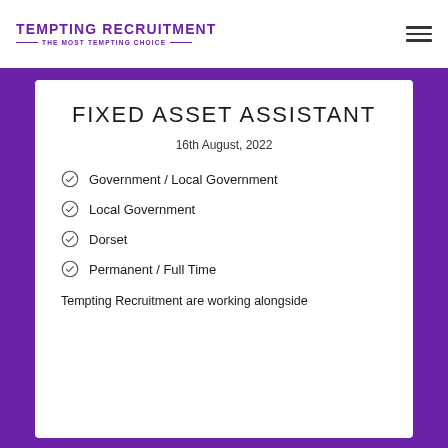TEMPTING RECRUITMENT — THE MOST TEMPTING CHOICE —
FIXED ASSET ASSISTANT
16th August, 2022
Government / Local Government
Local Government
Dorset
Permanent / Full Time
Tempting Recruitment are working alongside